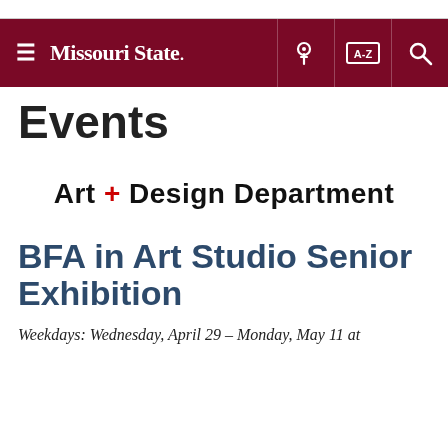Missouri State
Events
[Figure (logo): Art + Design Department logo with red plus sign]
BFA in Art Studio Senior Exhibition
Weekdays: Wednesday, April 29 – Monday, May 11 at